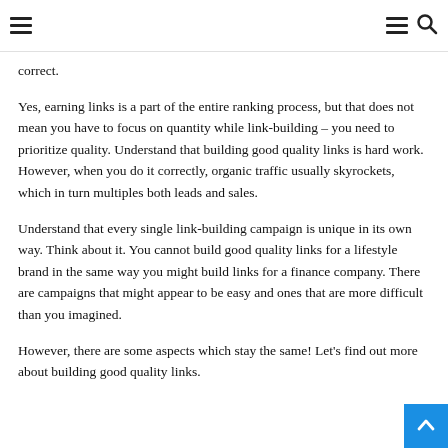[navigation bar with hamburger menu and search icon]
correct.
Yes, earning links is a part of the entire ranking process, but that does not mean you have to focus on quantity while link-building – you need to prioritize quality. Understand that building good quality links is hard work. However, when you do it correctly, organic traffic usually skyrockets, which in turn multiples both leads and sales.
Understand that every single link-building campaign is unique in its own way. Think about it. You cannot build good quality links for a lifestyle brand in the same way you might build links for a finance company. There are campaigns that might appear to be easy and ones that are more difficult than you imagined.
However, there are some aspects which stay the same! Let's find out more about building good quality links.